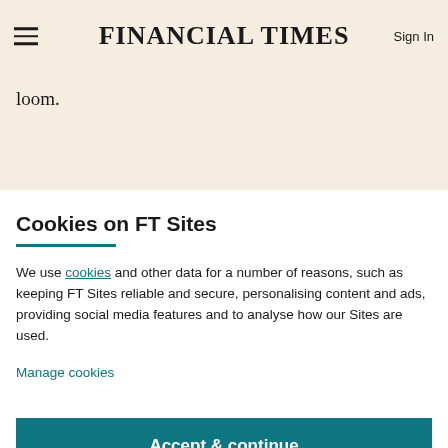FINANCIAL TIMES
loom.
Cookies on FT Sites
We use cookies and other data for a number of reasons, such as keeping FT Sites reliable and secure, personalising content and ads, providing social media features and to analyse how our Sites are used.
Manage cookies
Accept & continue